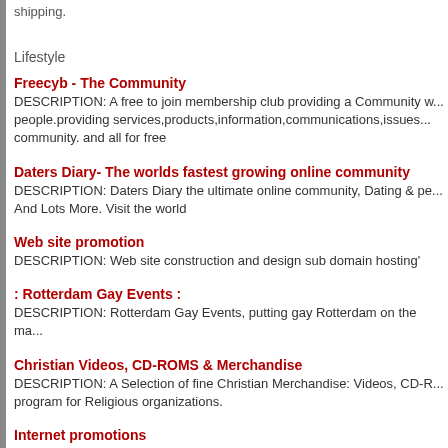shipping.
Lifestyle
Freecyb - The Community
DESCRIPTION: A free to join membership club providing a Community w... people.providing services,products,information,communications,issues... community. and all for free
Daters Diary- The worlds fastest growing online community
DESCRIPTION: Daters Diary the ultimate online community, Dating & pe... And Lots More. Visit the world
Web site promotion
DESCRIPTION: Web site construction and design sub domain hosting'
: Rotterdam Gay Events :
DESCRIPTION: Rotterdam Gay Events, putting gay Rotterdam on the ma...
Christian Videos, CD-ROMS & Merchandise
DESCRIPTION: A Selection of fine Christian Merchandise: Videos, CD-R... program for Religious organizations.
Internet promotions
DESCRIPTION: Web site promotion for anyone
My new credit File
DESCRIPTION: Get a "brandnew" Creditfile! This is what the Governme... card companies do not want you to know... Discover the loophole in the...